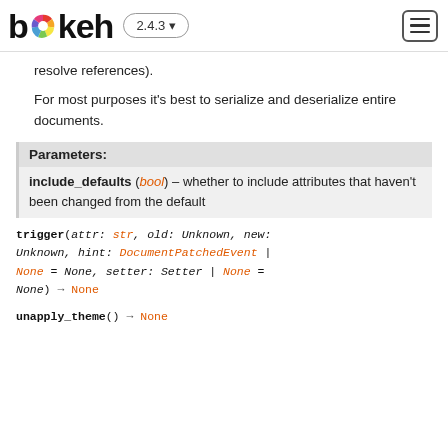bokeh 2.4.3
resolve references).
For most purposes it's best to serialize and deserialize entire documents.
| Parameters: |
| --- |
| include_defaults (bool) – whether to include attributes that haven't been changed from the default |
trigger(attr: str, old: Unknown, new: Unknown, hint: DocumentPatchedEvent | None = None, setter: Setter | None = None) → None
unapply_theme() → None